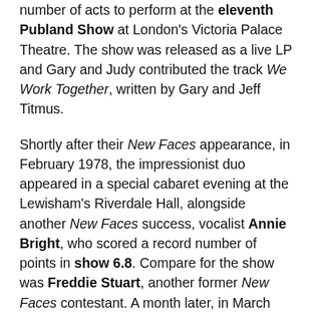number of acts to perform at the eleventh Publand Show at London's Victoria Palace Theatre. The show was released as a live LP and Gary and Judy contributed the track We Work Together, written by Gary and Jeff Titmus.
Shortly after their New Faces appearance, in February 1978, the impressionist duo appeared in a special cabaret evening at the Lewisham's Riverdale Hall, alongside another New Faces success, vocalist Annie Bright, who scored a record number of points in show 6.8. Compare for the show was Freddie Stuart, another former New Faces contestant. A month later, in March 1978, the duo were the support act for Mike & Bernie Winters at Margate's Winter Gardens in what would be one of the last shows that the Winters' brothers would perform as a duo before going their separate ways.
Gary and Judy also performed alongside other New Faces acts later in 1978, appearing at the Prince of